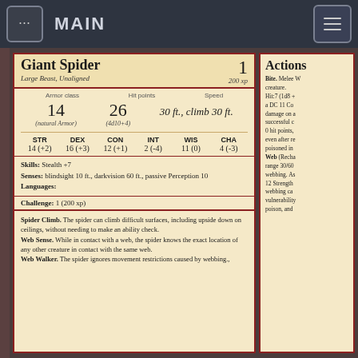... MAIN
Giant Spider
Large Beast, Unaligned
1
200 xp
| Armor class | Hit points | Speed |
| --- | --- | --- |
| 14 | 26 | 30 ft., climb 30 ft. |
| (natural Armor) | (4d10+4) |  |
| STR | DEX | CON | INT | WIS | CHA |
| --- | --- | --- | --- | --- | --- |
| 14 (+2) | 16 (+3) | 12 (+1) | 2 (-4) | 11 (0) | 4 (-3) |
Skills: Stealth +7
Senses: blindsight 10 ft., darkvision 60 ft., passive Perception 10
Languages:
Challenge: 1 (200 xp)
Spider Climb. The spider can climb difficult surfaces, including upside down on ceilings, without needing to make an ability check.
Web Sense. While in contact with a web, the spider knows the exact location of any other creature in contact with the same web.
Web Walker. The spider ignores movement restrictions caused by webbing.,
Actions
Bite. Melee Weapon Attack: +5 to hit, reach 5 ft., one creature. Hit:7 (1d8 + 3) piercing damage, and the target must make a DC 11 Constitution saving throw, taking 9 (2d8) poison damage on a failed save, or half as much damage on a successful one. If the poison damage reduces the target to 0 hit points, the target is stable but poisoned for 1 hour, even after regaining hit points, and is paralyzed while poisoned in this way.
Web (Recharge 5-6). Ranged Weapon Attack: +5 to hit, range 30/60 ft., one creature. Hit: The target is restrained by webbing. As an action, the restrained target can make a DC 12 Strength check, bursting the webbing on a success. The webbing can also be attacked and destroyed (AC 10; hp 5; vulnerability to fire damage; immunity to bludgeoning, poison, and psychic damage).